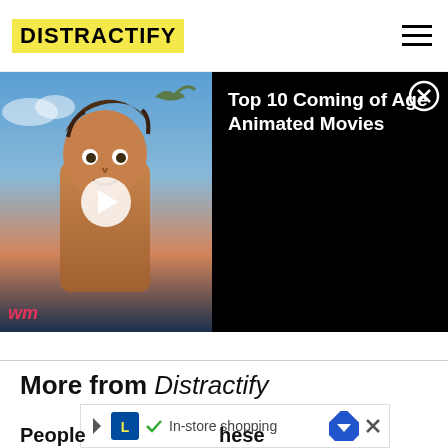DISTRACTIFY
[Figure (screenshot): Video thumbnail showing an animated character (from How to Train Your Dragon) with a play button overlay and 'wm' logo watermark in bottom left. Right side shows black background with title text.]
Top 10 Coming of Age Animated Movies
More from Distractify
[Figure (other): Advertisement banner for Lidl in-store shopping with Lidl logo, checkmark, and navigation/arrow icon]
People ... hese